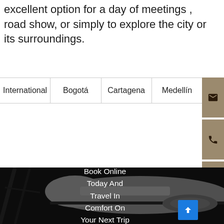excellent option for a day of meetings , road show, or simply to explore the city or its surroundings.
| International | Bogotá | Cartagena | Medellín |
| --- | --- | --- | --- |
[Figure (photo): Black and white photo of a private jet aircraft in a hangar, with overlay text 'Book Online Today And Travel In Comfort On Your Next Trip']
Book Online Today And Travel In Comfort On Your Next Trip